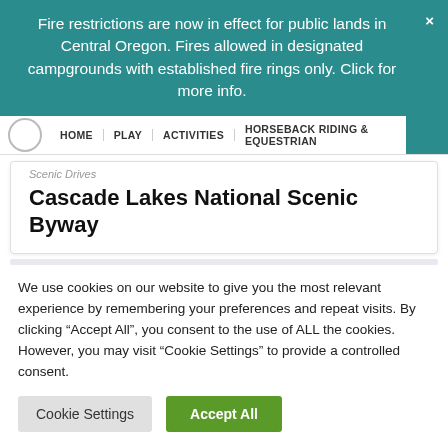Fire restrictions are now in effect for public lands in Central Oregon. Fires allowed in designated campgrounds with established fire rings only. Click for more info.
HOME   PLAY   ACTIVITIES   HORSEBACK RIDING & EQUESTRIAN
Scenic Drives
Cascade Lakes National Scenic Byway
We use cookies on our website to give you the most relevant experience by remembering your preferences and repeat visits. By clicking “Accept All”, you consent to the use of ALL the cookies. However, you may visit “Cookie Settings” to provide a controlled consent.